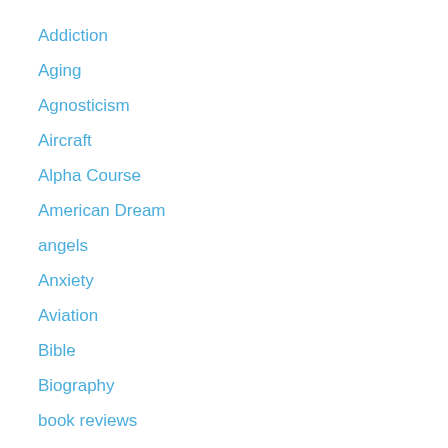Addiction
Aging
Agnosticism
Aircraft
Alpha Course
American Dream
angels
Anxiety
Aviation
Bible
Biography
book reviews
Brokenness
Business
Cars
children
Christ
Christianity
Christmas
church